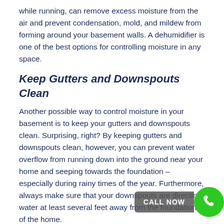while running, can remove excess moisture from the air and prevent condensation, mold, and mildew from forming around your basement walls. A dehumidifier is one of the best options for controlling moisture in any space.
Keep Gutters and Downspouts Clean
Another possible way to control moisture in your basement is to keep your gutters and downspouts clean. Surprising, right? By keeping gutters and downspouts clean, however, you can prevent water overflow from running down into the ground near your home and seeping towards the foundation – especially during rainy times of the year. Furthermore, always make sure that your downspouts are directing water at least several feet away from the foundation of the home.
Be on the Lookout for Plumbing Leaks